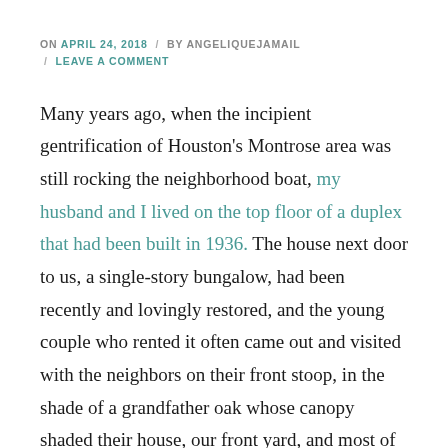ON APRIL 24, 2018 / BY ANGELIQUEJAMAIL / LEAVE A COMMENT
Many years ago, when the incipient gentrification of Houston's Montrose area was still rocking the neighborhood boat, my husband and I lived on the top floor of a duplex that had been built in 1936. The house next door to us, a single-story bungalow, had been recently and lovingly restored, and the young couple who rented it often came out and visited with the neighbors on their front stoop, in the shade of a grandfather oak whose canopy shaded their house, our front yard, and most of the wide street in front of us.